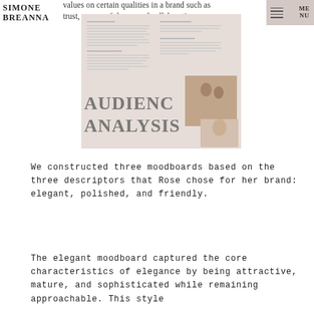values on certain qualities in a brand such as trust, resourcefulness, and collaboration
[Figure (screenshot): A document preview showing an Audience Analysis page with two columns of text, two photographs of couples/people, and large text reading AUDIENCE ANALYSIS]
We constructed three moodboards based on the three descriptors that Rose chose for her brand: elegant, polished, and friendly.
The elegant moodboard captured the core characteristics of elegance by being attractive, mature, and sophisticated while remaining approachable. This style...